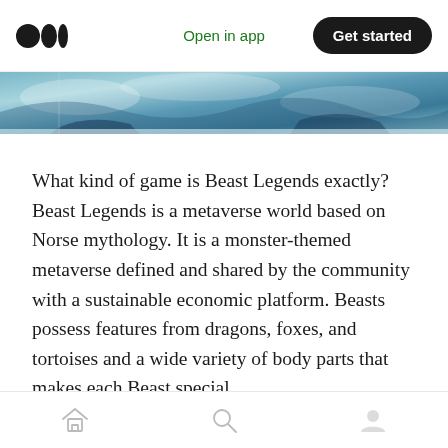Open in app  |  Get started
[Figure (photo): Cropped top of an illustrated fantasy scene with blue and teal tones, clouds or water waves, dark silhouetted figures against a blue sky.]
What kind of game is Beast Legends exactly? Beast Legends is a metaverse world based on Norse mythology. It is a monster-themed metaverse defined and shared by the community with a sustainable economic platform. Beasts possess features from dragons, foxes, and tortoises and a wide variety of body parts that makes each Beast special.
Where it differs from others is that Beast Legends is a community-driven, defined and shared with a
Home  Search  Profile